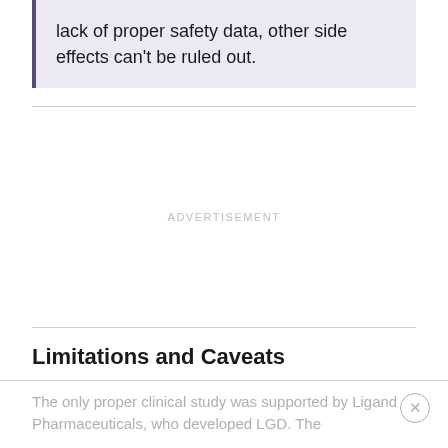lack of proper safety data, other side effects can't be ruled out.
[Figure (other): Advertisement placeholder area with centered 'ADVERTISEMENT' label in light gray uppercase text]
Limitations and Caveats
The only proper clinical study was supported by Ligand Pharmaceuticals, who developed LGD. The